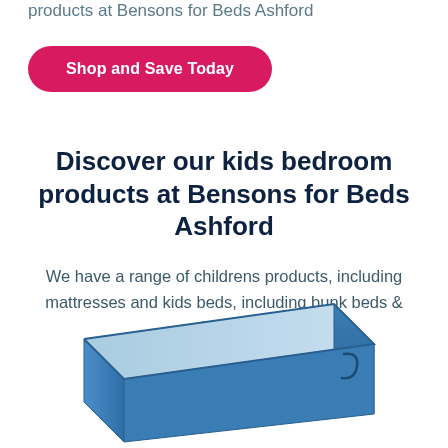products at Bensons for Beds Ashford
Shop and Save Today
Discover our kids bedroom products at Bensons for Beds Ashford
We have a range of childrens products, including mattresses and kids beds, including bunk beds & cabin beds
[Figure (photo): A blue children's mattress photographed from a slight angle, showing its top surface and side profile, partially cropped at the bottom of the page.]